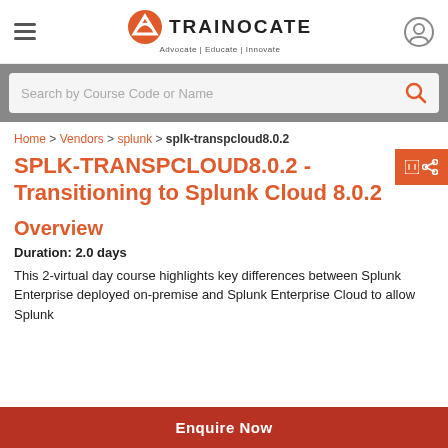Trainocate — Advocate | Educate | Innovate
Search by Course Code or Name
Home > Vendors > splunk > splk-transpcloud8.0.2
SPLK-TRANSPCLOUD8.0.2 - Transitioning to Splunk Cloud 8.0.2
Overview
Duration: 2.0 days
This 2-virtual day course highlights key differences between Splunk Enterprise deployed on-premise and Splunk Enterprise Cloud to allow Splunk
Enquire Now